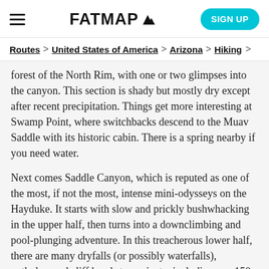FATMAP [logo] | SIGN UP
Routes > United States of America > Arizona > Hiking >
forest of the North Rim, with one or two glimpses into the canyon. This section is shady but mostly dry except after recent precipitation. Things get more interesting at Swamp Point, where switchbacks descend to the Muav Saddle with its historic cabin. There is a spring nearby if you need water.
Next comes Saddle Canyon, which is reputed as one of the most, if not the most, intense mini-odysseys on the Hayduke. It starts with slow and prickly bushwhacking in the upper half, then turns into a downclimbing and pool-plunging adventure. In this treacherous lower half, there are many dryfalls (or possibly waterfalls), potholes, and cliff bands to navigate, including one 150-foot pour off with an especially tricky workaround.